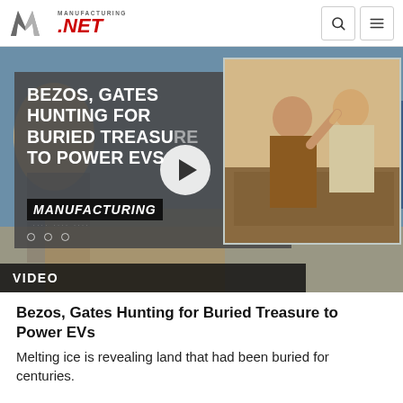Manufacturing.NET
[Figure (screenshot): Video thumbnail showing text 'BEZOS, GATES HUNTING FOR BURIED TREASURE TO POWER EVS' over a grey card overlay with a Manufacturing logo, dots navigation, a play button, and an inset photo of two elderly people giving a high five. Background shows blurred industrial/people scene.]
VIDEO
Bezos, Gates Hunting for Buried Treasure to Power EVs
Melting ice is revealing land that had been buried for centuries.